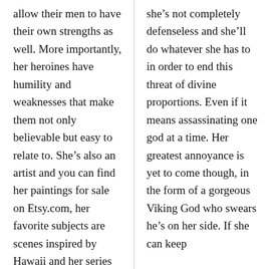allow their men to have their own strengths as well. More importantly, her heroines have humility and weaknesses that make them not only believable but easy to relate to. She’s also an artist and you can find her paintings for sale on Etsy.com, her favorite subjects are scenes inspired by Hawaii and her series of “Living Vodou Dolls”. She loves the beautifully unusual.
she’s not completely defenseless and she’ll do whatever she has to in order to end this threat of divine proportions. Even if it means assassinating one god at a time. Her greatest annoyance is yet to come though, in the form of a gorgeous Viking God who swears he’s on her side. If she can keep